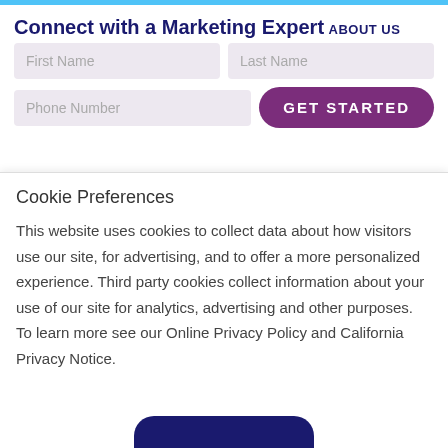Connect with a Marketing Expert
ABOUT US
[Figure (screenshot): Web form with First Name, Last Name, Phone Number fields and GET STARTED button]
Cookie Preferences
This website uses cookies to collect data about how visitors use our site, for advertising, and to offer a more personalized experience. Third party cookies collect information about your use of our site for analytics, advertising and other purposes. To learn more see our Online Privacy Policy and California Privacy Notice.